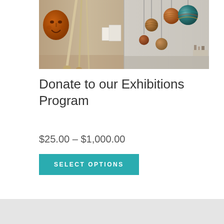[Figure (photo): Museum exhibition photo showing two panels: left panel with indigenous wooden mask and long decorated sticks/paddles against a light wall, right panel with colorful hanging spherical art pieces suspended from ceiling in a gallery space]
Donate to our Exhibitions Program
$25.00 – $1,000.00
SELECT OPTIONS